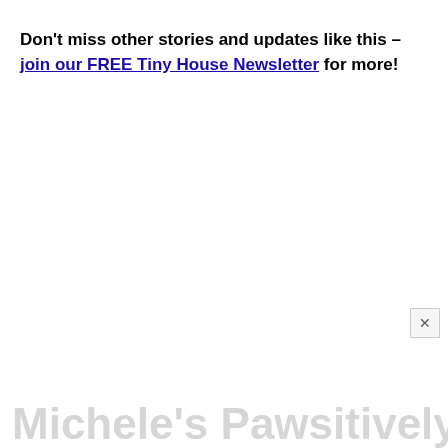Don't miss other stories and updates like this – join our FREE Tiny House Newsletter for more!
Michele's Pawsitively Tiny